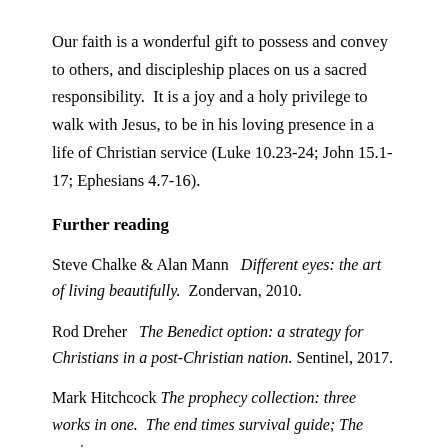Our faith is a wonderful gift to possess and convey to others, and discipleship places on us a sacred responsibility.  It is a joy and a holy privilege to walk with Jesus, to be in his loving presence in a life of Christian service (Luke 10.23-24; John 15.1-17; Ephesians 4.7-16).
Further reading
Steve Chalke & Alan Mann   Different eyes: the art of living beautifully.  Zondervan, 2010.
Rod Dreher   The Benedict option: a strategy for Christians in a post-Christian nation.  Sentinel, 2017.
Mark Hitchcock  The prophecy collection: three works in one.  The end times survival guide; The coming...